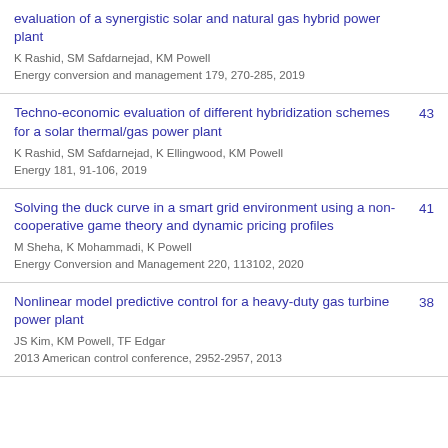evaluation of a synergistic solar and natural gas hybrid power plant
K Rashid, SM Safdarnejad, KM Powell
Energy conversion and management 179, 270-285, 2019
Techno-economic evaluation of different hybridization schemes for a solar thermal/gas power plant
K Rashid, SM Safdarnejad, K Ellingwood, KM Powell
Energy 181, 91-106, 2019
43
Solving the duck curve in a smart grid environment using a non-cooperative game theory and dynamic pricing profiles
M Sheha, K Mohammadi, K Powell
Energy Conversion and Management 220, 113102, 2020
41
Nonlinear model predictive control for a heavy-duty gas turbine power plant
JS Kim, KM Powell, TF Edgar
2013 American control conference, 2952-2957, 2013
38